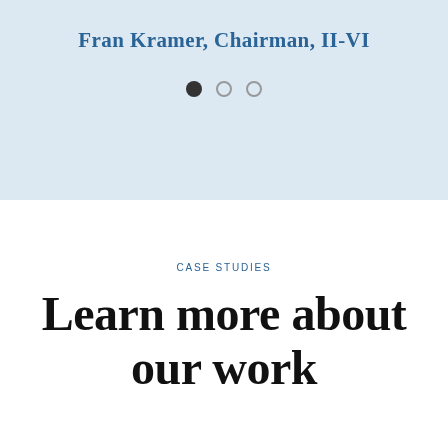Fran Kramer, Chairman, II-VI
[Figure (other): Carousel navigation dots: one filled black dot followed by two empty circle dots]
CASE STUDIES
Learn more about our work